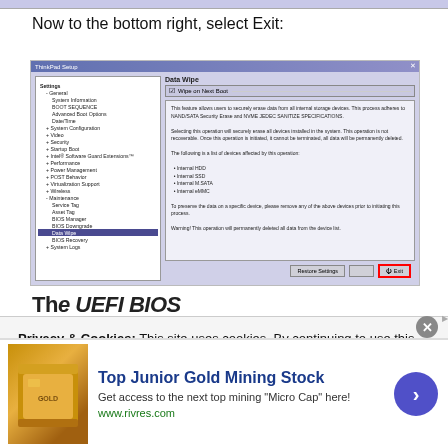Now to the bottom right, select Exit:
[Figure (screenshot): BIOS/UEFI settings screenshot showing ThinkPad Setup window with a left navigation panel (Settings > Maintenance highlighted) and right panel showing Data Wipe settings with a list of affected devices and an Exit button highlighted in red on the bottom right.]
The UEFI BIOS update screen will display...
Privacy & Cookies: This site uses cookies. By continuing to use this website, you agree to their use.
To find out more, including how to control cookies, see here: Cookie Policy
[Figure (infographic): Advertisement banner for Top Junior Gold Mining Stock with gold bar image, text 'Top Junior Gold Mining Stock', 'Get access to the next top mining "Micro Cap" here!', 'www.rivres.com', and a blue circular arrow button.]